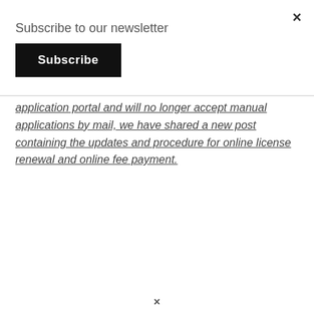×
Subscribe to our newsletter
Subscribe
application portal and will no longer accept manual applications by mail, we have shared a new post containing the updates and procedure for online license renewal and online fee payment.
×